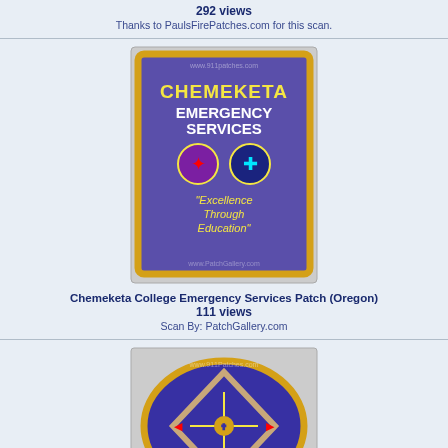292 views
Thanks to PaulsFirePatches.com for this scan.
[Figure (photo): Chemeketa College Emergency Services patch - purple background with gold border, text 'CHEMEKETA EMERGENCY SERVICES' and 'Excellence Through Education']
Chemeketa College Emergency Services Patch (Oregon)
111 views
Scan By: PatchGallery.com
[Figure (photo): Chemeketa Community College 305 Fire Protection patch - oval purple patch with gold border and diamond design]
Chemeketa Community College 305 Fire Protection (Oregon)
216 views
Scan By: PatchGallery.com
[Figure (photo): Chemult Rural Fire Protection District patch - Oregon state shape patch with blue/gray design]
Chemult Rural Fire Protection District (Oregon)